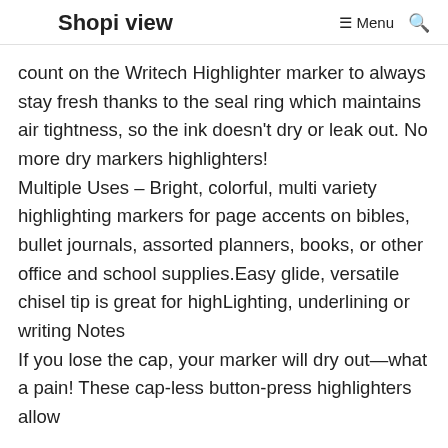Shopi view   ☰ Menu   🔍
count on the Writech Highlighter marker to always stay fresh thanks to the seal ring which maintains air tightness, so the ink doesn't dry or leak out. No more dry markers highlighters! Multiple Uses – Bright, colorful, multi variety highlighting markers for page accents on bibles, bullet journals, assorted planners, books, or other office and school supplies.Easy glide, versatile chisel tip is great for highLighting, underlining or writing Notes If you lose the cap, your marker will dry out—what a pain! These cap-less button-press highlighters allow